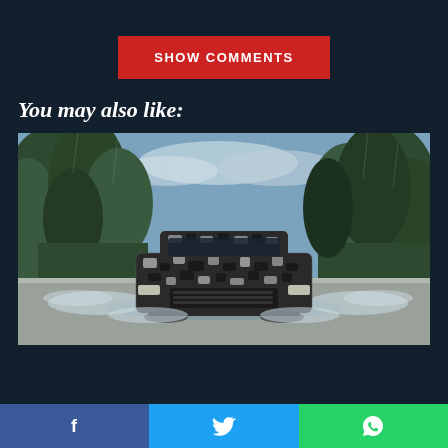SHOW COMMENTS
You may also like:
[Figure (photo): Front view of a camouflaged electric pickup truck driving on a wet road with trees in the background and water spray around the wheels.]
Facebook share | Twitter share | WhatsApp share